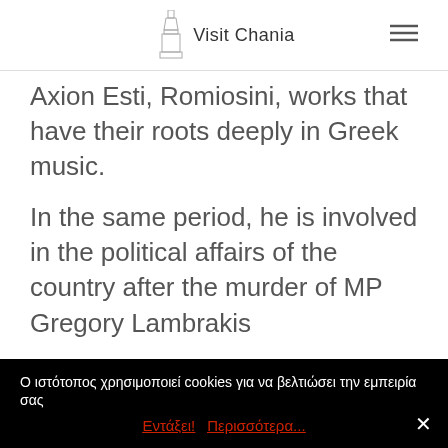Visit Chania
Axion Esti, Romiosini, works that have their roots deeply in Greek music.
In the same period, he is involved in the political affairs of the country after the murder of MP Gregory Lambrakis
Ο ιστότοπος χρησιμοποιεί cookies για να βελτιώσει την εμπειρία σας
Εντάξει! Περισσότερα...